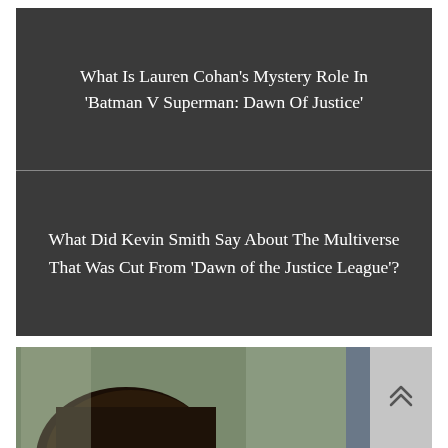What Is Lauren Cohan’s Mystery Role In ‘Batman V Superman: Dawn Of Justice’
What Did Kevin Smith Say About The Multiverse That Was Cut From ‘Dawn of the Justice League’?
[Figure (photo): Partial photo of a person with dark hair outdoors, with buildings in background. A scroll-to-top button (chevron up) overlays the bottom right corner.]